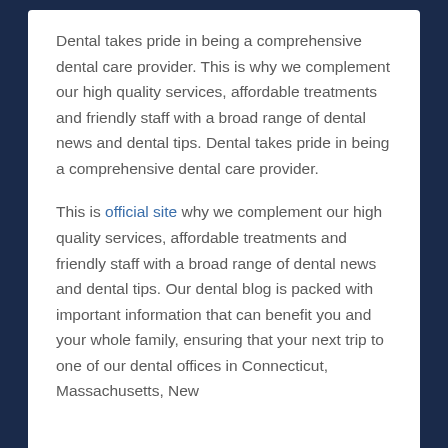Dental takes pride in being a comprehensive dental care provider. This is why we complement our high quality services, affordable treatments and friendly staff with a broad range of dental news and dental tips. Dental takes pride in being a comprehensive dental care provider.
This is official site why we complement our high quality services, affordable treatments and friendly staff with a broad range of dental news and dental tips. Our dental blog is packed with important information that can benefit you and your whole family, ensuring that your next trip to one of our dental offices in Connecticut, Massachusetts, New